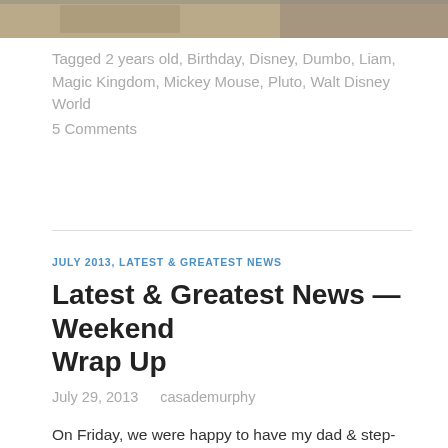[Figure (photo): Partial photo strip at top of page, showing what appears to be hands or figures, cropped]
Tagged 2 years old, Birthday, Disney, Dumbo, Liam, Magic Kingdom, Mickey Mouse, Pluto, Walt Disney World
5 Comments
JULY 2013, LATEST & GREATEST NEWS
Latest & Greatest News — Weekend Wrap Up
July 29, 2013   casademurphy
On Friday, we were happy to have my dad & step-mom [Liam's, Papa-G and G-Ma] come for a visit. It was really great to spend some time with them, and